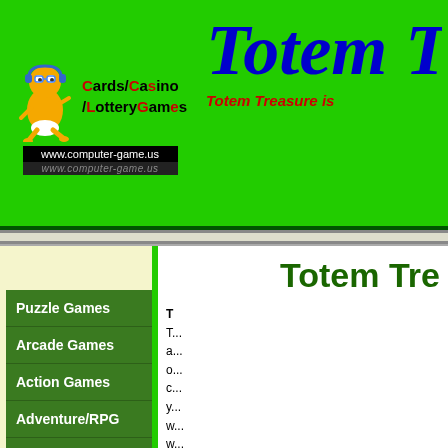Cards/Casino/LotteryGames www.computer-game.us
Totem T
Totem Treasure is
[Figure (illustration): Cartoon baby figure with orange body running, wearing blue earphones, mascot logo for Cards/Casino/LotteryGames website]
[Figure (other): Advertisement banner area (white rectangle)]
Totem Tre
Puzzle Games
Arcade Games
Action Games
Adventure/RPG
Card/Casino/Lottery
T
Totem Treasure a... o... c... y... w... w... t...